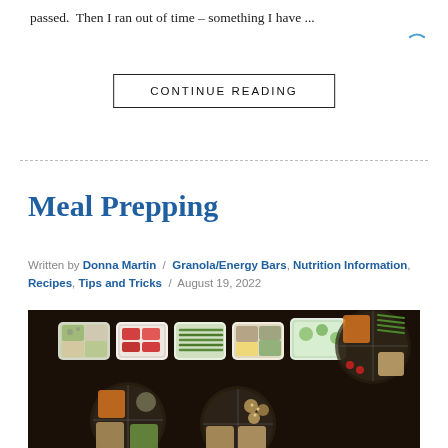passed.  Then I ran out of time – something I have ...
[Figure (other): Loading spinner arc icon, blue, top right corner]
CONTINUE READING
Meal Prepping
Written by Donna Martin / Granola/Energy Bars, Nutrition Information, Recipes, Tips and Tricks / August 19, 2022
[Figure (photo): Overhead photo of multiple meal prep containers on a dark table, filled with colorful vegetables, grains, and proteins arranged in sections including green beans, red peppers, mushrooms, cucumber, squash, carrots, and rice]